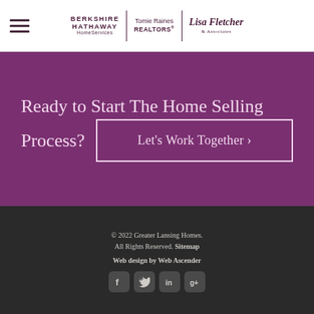[Figure (logo): Berkshire Hathaway HomeServices | Tomie Raines REALTORS | Lisa Fletcher & Associates logo with hamburger menu icon]
Ready to Start The Home Selling Process?
Let's Work Together ›
© 2022 Greater Lansing Homes. All Rights Reserved. Sitemap
Web design by Web Ascender
[Figure (illustration): Social media icons: Facebook, Twitter, LinkedIn, Google+]